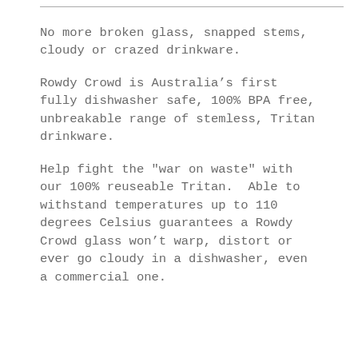No more broken glass, snapped stems, cloudy or crazed drinkware.
Rowdy Crowd is Australia's first fully dishwasher safe, 100% BPA free, unbreakable range of stemless, Tritan drinkware.
Help fight the "war on waste" with our 100% reuseable Tritan.  Able to withstand temperatures up to 110 degrees Celsius guarantees a Rowdy Crowd glass won't warp, distort or ever go cloudy in a dishwasher, even a commercial one.